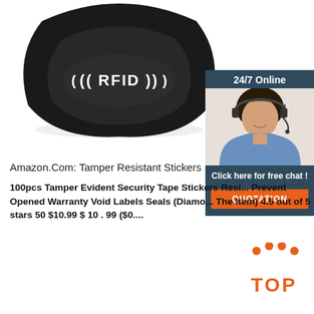[Figure (photo): Black RFID silicone wristband with '((RFID))' text on the surface, shown against white background.]
[Figure (infographic): 24/7 Online chat widget with a photo of a female customer service agent wearing a headset, 'Click here for free chat!' text, and an orange QUOTATION button.]
Amazon.Com: Tamper Resistant Stickers
100pcs Tamper Evident Security Tape Stickers Resi... Prevent Opened Warranty Void Labels Seals (Diamo... The Item) 4.5 out of 5 stars 50 $10.99 $ 10 . 99 ($0....
[Figure (other): Orange 'Get Price' button]
[Figure (other): Orange 'TOP' back-to-top button with dots above]